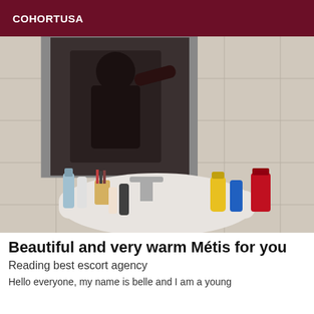COHORTUSA
[Figure (photo): A person in black clothing taking a mirror selfie in a bathroom, with various toiletries and cosmetics on the sink counter.]
Beautiful and very warm Métis for you
Reading best escort agency
Hello everyone, my name is belle and I am a young